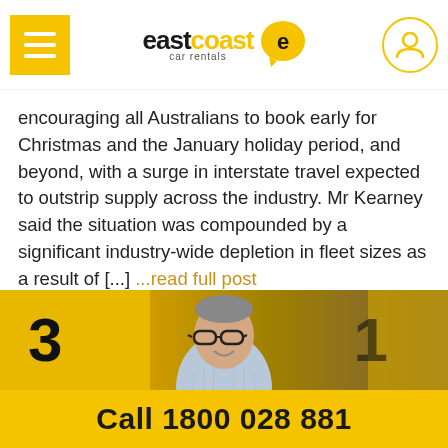east coast car rentals
encouraging all Australians to book early for Christmas and the January holiday period, and beyond, with a surge in interstate travel expected to outstrip supply across the industry. Mr Kearney said the situation was compounded by a significant industry-wide depletion in fleet sizes as a result of [...] ...read full post
[Figure (photo): Man with glasses and crossed arms standing in front of yellow parking garage wall with large parking bay numbers]
Call 1800 028 881